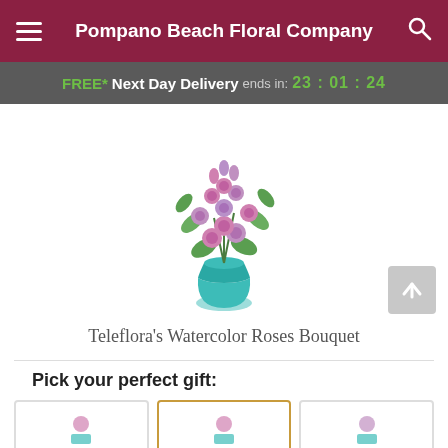Pompano Beach Floral Company
FREE* Next Day Delivery ends in: 23:01:24
[Figure (photo): Photo of Teleflora's Watercolor Roses Bouquet: pink and lavender roses arranged in a teal watercolor vase with green foliage]
Teleflora's Watercolor Roses Bouquet
Pick your perfect gift:
[Figure (photo): Three gift option thumbnail images in a row; the middle one is selected with a gold/orange border]